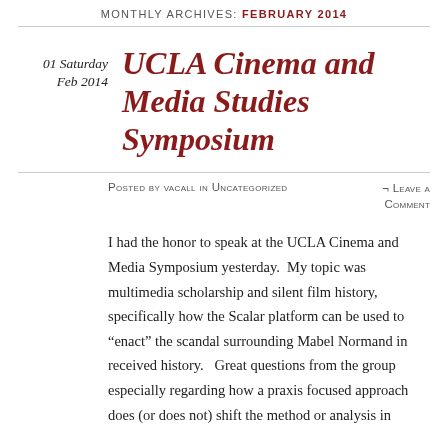MONTHLY ARCHIVES: FEBRUARY 2014
UCLA Cinema and Media Studies Symposium
01 Saturday Feb 2014
Posted by vacall in Uncategorized  ¬ Leave a Comment
I had the honor to speak at the UCLA Cinema and Media Symposium yesterday.  My topic was multimedia scholarship and silent film history, specifically how the Scalar platform can be used to “enact” the scandal surrounding Mabel Normand in received history.   Great questions from the group especially regarding how a praxis focused approach does (or does not) shift the method or analysis in